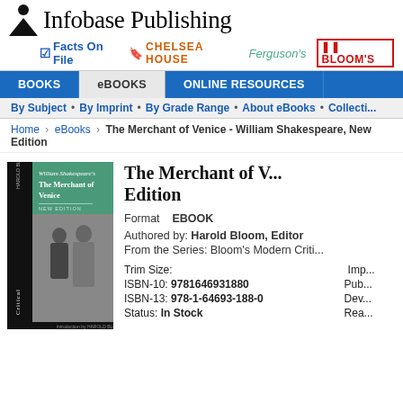[Figure (logo): Infobase Publishing logo with person icon and text]
Infobase Publishing — Facts On File | CHELSEA HOUSE | Ferguson's | BLOOM'S
Navigation: BOOKS | eBOOKS | ONLINE RESOURCES
By Subject • By Imprint • By Grade Range • About eBooks • Collections
Home › eBooks › The Merchant of Venice - William Shakespeare, New Edition
[Figure (photo): Book cover: Critical Interpretations - William Shakespeare's The Merchant of Venice, New Edition, Harold Bloom Editor. Black and white photo of two costumed actors.]
The Merchant of Venice, New Edition
Format   EBOOK
Authored by: Harold Bloom, Editor
From the Series: Bloom's Modern Critical Interpretations
| Field | Value | Field2 | Value2 |
| --- | --- | --- | --- |
| Trim Size: |  | Imprint: |  |
| ISBN-10: | 9781646931880 | Pub: |  |
| ISBN-13: | 978-1-64693-188-0 | Dev: |  |
| Status: | In Stock | Rea: |  |
| List Price: |  |  |  |